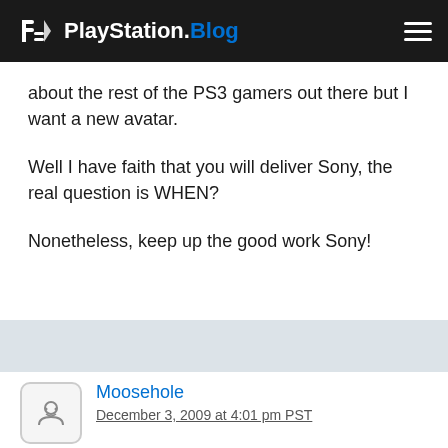PlayStation.Blog
about the rest of the PS3 gamers out there but I want a new avatar.

Well I have faith that you will deliver Sony, the real question is WHEN?

Nonetheless, keep up the good work Sony!
Moosehole
December 3, 2009 at 4:01 pm PST
STILL no avatars… Let me guess… You're going to add premium avatars only for people who upgrade to the new subscription based PSN, right?